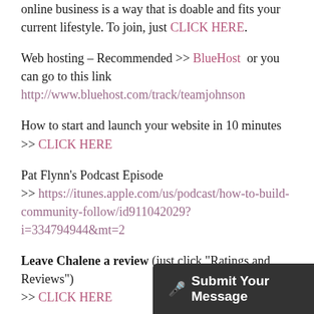online business is a way that is doable and fits your current lifestyle. To join, just CLICK HERE.
Web hosting – Recommended >> BlueHost  or you can go to this link http://www.bluehost.com/track/teamjohnson
How to start and launch your website in 10 minutes >> CLICK HERE
Pat Flynn's Podcast Episode >> https://itunes.apple.com/us/podcast/how-to-build-community-follow/id911042029?i=334794944&mt=2
Leave Chalene a review (just click "Ratings and Reviews") >> CLICK HERE
Leave Chalene a voice message >> CLICK HERE
Want more great tips and m...